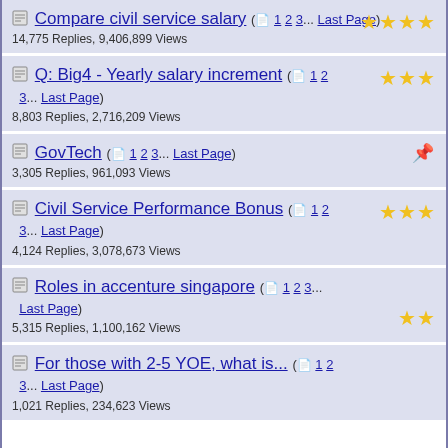Compare civil service salary ( 1 2 3... Last Page) 14,775 Replies, 9,406,899 Views [4 stars]
Q: Big4 - Yearly salary increment ( 1 2 3... Last Page) 8,803 Replies, 2,716,209 Views [3 stars]
GovTech ( 1 2 3... Last Page) 3,305 Replies, 961,093 Views [paperclip]
Civil Service Performance Bonus ( 1 2 3... Last Page) 4,124 Replies, 3,078,673 Views [3 stars]
Roles in accenture singapore ( 1 2 3... Last Page) 5,315 Replies, 1,100,162 Views [2 stars]
For those with 2-5 YOE, what is... ( 1 2 3... Last Page) 1,021 Replies, 234,623 Views